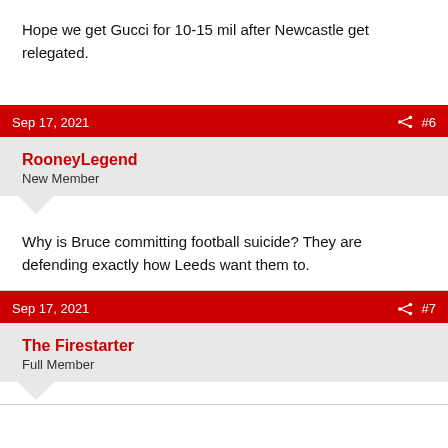Hope we get Gucci for 10-15 mil after Newcastle get relegated.
Sep 17, 2021  #6
RooneyLegend
New Member
Why is Bruce committing football suicide? They are defending exactly how Leeds want them to.
Sep 17, 2021  #7
The Firestarter
Full Member